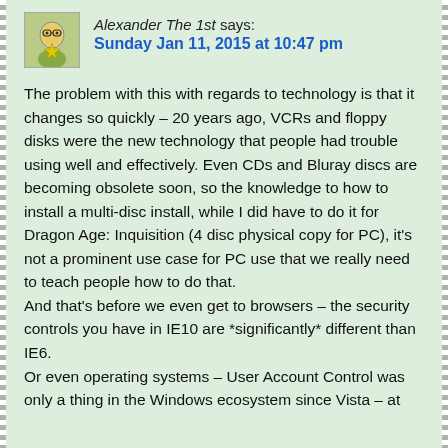Alexander The 1st says:
Sunday Jan 11, 2015 at 10:47 pm
The problem with this with regards to technology is that it changes so quickly – 20 years ago, VCRs and floppy disks were the new technology that people had trouble using well and effectively. Even CDs and Bluray discs are becoming obsolete soon, so the knowledge to how to install a multi-disc install, while I did have to do it for Dragon Age: Inquisition (4 disc physical copy for PC), it's not a prominent use case for PC use that we really need to teach people how to do that.
And that's before we even get to browsers – the security controls you have in IE10 are *significantly* different than IE6.
Or even operating systems – User Account Control was only a thing in the Windows ecosystem since Vista – at